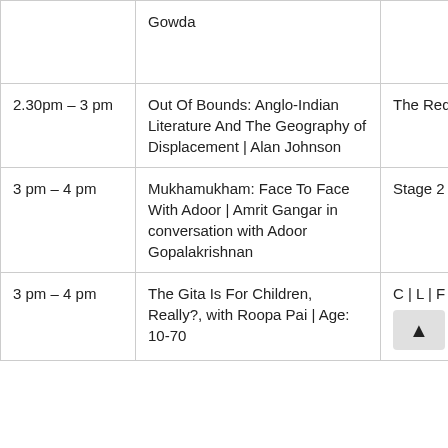| Time | Event | Venue |
| --- | --- | --- |
|  | Gowda |  |
| 2.30pm – 3 pm | Out Of Bounds: Anglo-Indian Literature And The Geography of Displacement | Alan Johnson | The Red Couch |
| 3 pm – 4 pm | Mukhamukham: Face To Face With Adoor | Amrit Gangar in conversation with Adoor Gopalakrishnan | Stage 2 |
| 3 pm – 4 pm | The Gita Is For Children, Really?, with Roopa Pai | Age: 10-70 | C | L | F |